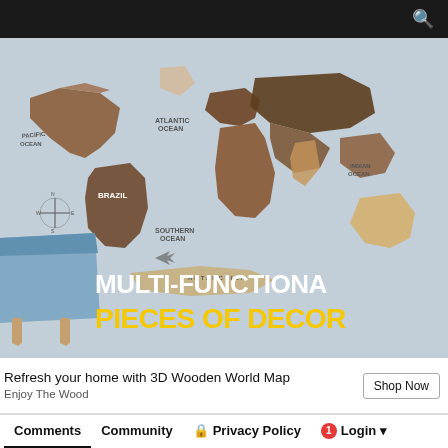[Figure (screenshot): Top navigation bar with dark/black background and a search icon (magnifying glass) on the right side.]
[Figure (photo): Hero banner image showing a 3D wooden world map mounted on a light blue/grey wall with a blue armchair in front. Text overlay reads MULTI-FUNCTIONAL in white and PIECES OF DECOR in bold yellow.]
Refresh your home with 3D Wooden World Map
Enjoy The Wood
Shop Now
Comments | Community | Privacy Policy | Login